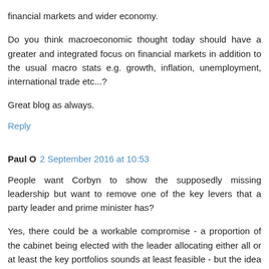financial markets and wider economy.
Do you think macroeconomic thought today should have a greater and integrated focus on financial markets in addition to the usual macro stats e.g. growth, inflation, unemployment, international trade etc...?
Great blog as always.
Reply
Paul O  2 September 2016 at 10:53
People want Corbyn to show the supposedly missing leadership but want to remove one of the key levers that a party leader and prime minister has?
Yes, there could be a workable compromise - a proportion of the cabinet being elected with the leader allocating either all or at least the key portfolios sounds at least feasible - but the idea of a prime minister (no smirking at the back) only being able to reshuffle posts rather than sack an incumbent apparently effectively choking